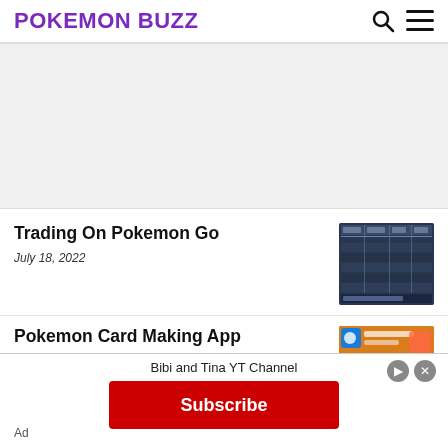POKEMON BUZZ
[Figure (other): Advertisement placeholder area]
Trading On Pokemon Go
July 18, 2022
[Figure (screenshot): Thumbnail image showing Pokemon GO trading table/chart screenshot]
Pokemon Card Making App
[Figure (other): Thumbnail image for Pokemon Card Making App article]
Bibi and Tina YT Channel
Ad
[Figure (other): Subscribe button advertisement overlay with red background]